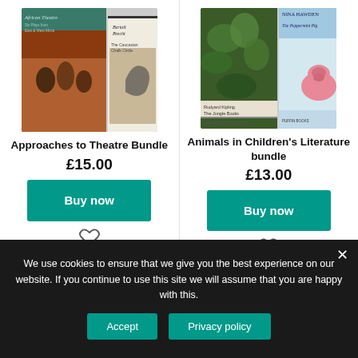[Figure (photo): Photo of books for Approaches to Theatre Bundle - showing African Theatre and Bertolt Brecht book covers]
Approaches to Theatre Bundle
£15.00
[Figure (photo): Photo of books for Animals in Children's Literature bundle - showing Jungle Books and The Peppermint Pig by Nina Hawden]
Animals in Children's Literature bundle
£13.00
We use cookies to ensure that we give you the best experience on our website. If you continue to use this site we will assume that you are happy with this.